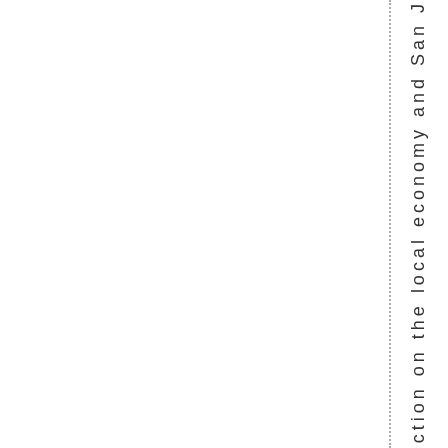uction on the local economy and San J